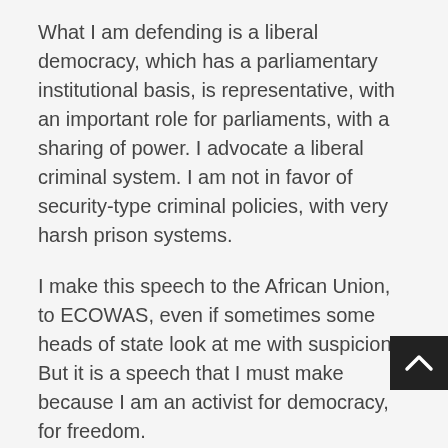What I am defending is a liberal democracy, which has a parliamentary institutional basis, is representative, with an important role for parliaments, with a sharing of power. I advocate a liberal criminal system. I am not in favor of security-type criminal policies, with very harsh prison systems.
I make this speech to the African Union, to ECOWAS, even if sometimes some heads of state look at me with suspicion. But it is a speech that I must make because I am an activist for democracy, for freedom.
Another thing is relations with other countries. I am aware, even because of my age, that above all a country like Cape Verde, which is small and needs international cooperation, cannot choose partners. The president of Cape Verde cannot identify with presidents based on his